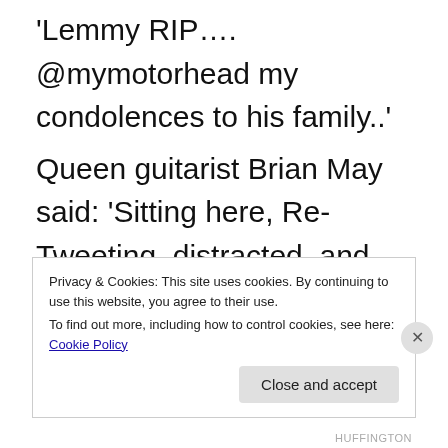While musician Billy Idol posted: 'Lemmy RIP…. @mymotorhead my condolences to his family..'
Queen guitarist Brian May said: 'Sitting here, Re-Tweeting, distracted, and wondering what I can possibly say about our utterly unique friend
Privacy & Cookies: This site uses cookies. By continuing to use this website, you agree to their use.
To find out more, including how to control cookies, see here: Cookie Policy
Close and accept
HUFFINGTON